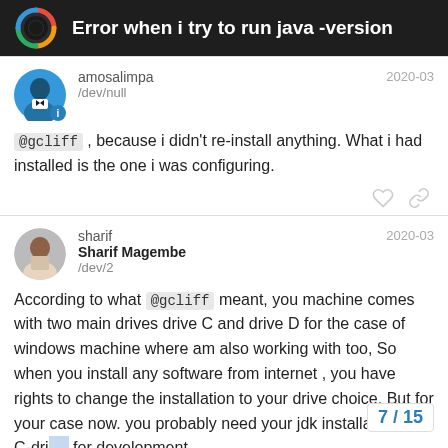Error when i try to run java -version
@gcliff , because i didn't re-install anything. What i had installed is the one i was configuring.
According to what @gcliff meant, you machine comes with two main drives drive C and drive D for the case of windows machine where am also working with too, So when you install any software from internet , you have rights to change the installation to your drive choice, But for your case now. you probably need your jdk installation in C-drive for development